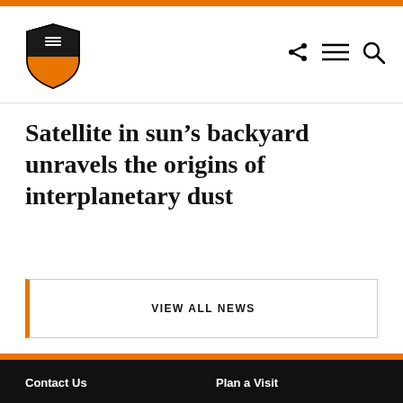Princeton University
Satellite in sun’s backyard unravels the origins of interplanetary dust
VIEW ALL NEWS
Contact Us    Plan a Visit